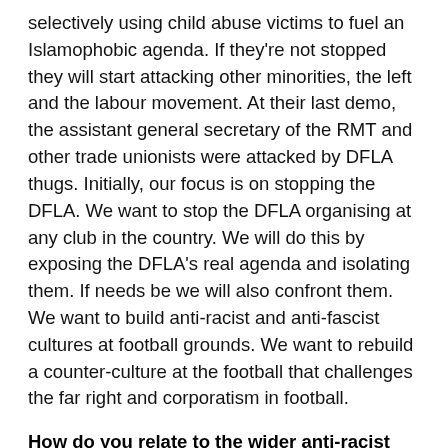selectively using child abuse victims to fuel an Islamophobic agenda. If they're not stopped they will start attacking other minorities, the left and the labour movement. At their last demo, the assistant general secretary of the RMT and other trade unionists were attacked by DFLA thugs. Initially, our focus is on stopping the DFLA. We want to stop the DFLA organising at any club in the country. We will do this by exposing the DFLA's real agenda and isolating them. If needs be we will also confront them. We want to build anti-racist and anti-fascist cultures at football grounds. We want to rebuild a counter-culture at the football that challenges the far right and corporatism in football.
How do you relate to the wider anti-racist movement?
We are an independent group and we've only been in existence for a few weeks. We want to support